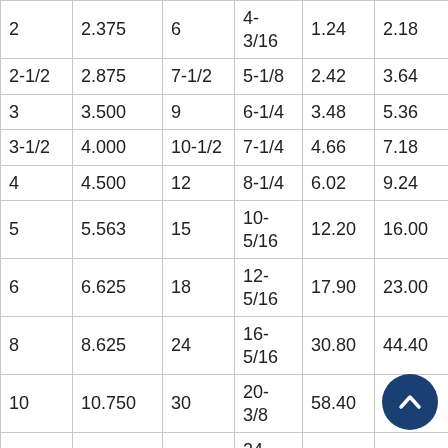| 2 | 2.375 | 6 | 4-3/16 | 1.24 | 2.18 |
| 2-1/2 | 2.875 | 7-1/2 | 5-1/8 | 2.42 | 3.64 |
| 3 | 3.500 | 9 | 6-1/4 | 3.48 | 5.36 |
| 3-1/2 | 4.000 | 10-1/2 | 7-1/4 | 4.66 | 7.18 |
| 4 | 4.500 | 12 | 8-1/4 | 6.02 | 9.24 |
| 5 | 5.563 | 15 | 10-5/16 | 12.20 | 16.00 |
| 6 | 6.625 | 18 | 12-5/16 | 17.90 | 23.00 |
| 8 | 8.625 | 24 | 16-5/16 | 30.80 | 44.40 |
| 10 | 10.750 | 30 | 20-3/8 | 58.40 | 77 |
| 12 | 12.750 | 36 | 24-3/8 | 104.00 | 119.00 |
| 14 | * | 42 | 28 | - | 178.00 |